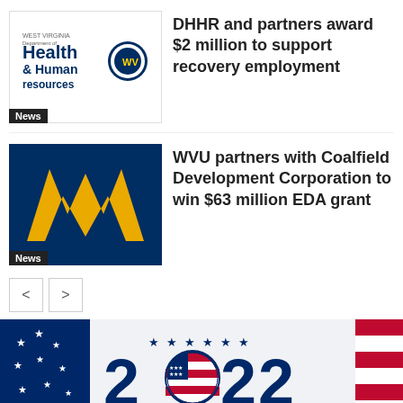[Figure (logo): West Virginia Department of Health and Human Resources logo]
DHHR and partners award $2 million to support recovery employment
[Figure (logo): WVU (West Virginia University) flying WV logo in gold on blue background]
WVU partners with Coalfield Development Corporation to win $63 million EDA grant
[Figure (photo): 2022 Primary Election banner with American flags, stars, and a circular flag badge in the zero of 2022]